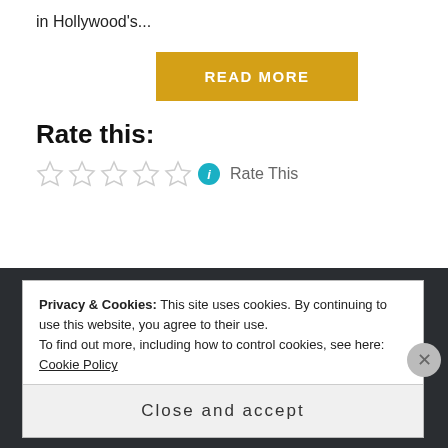in Hollywood's...
[Figure (other): READ MORE button in golden/amber color]
Rate this:
[Figure (other): Five empty star rating icons followed by info icon and 'Rate This' text]
Privacy & Cookies: This site uses cookies. By continuing to use this website, you agree to their use. To find out more, including how to control cookies, see here: Cookie Policy
Close and accept